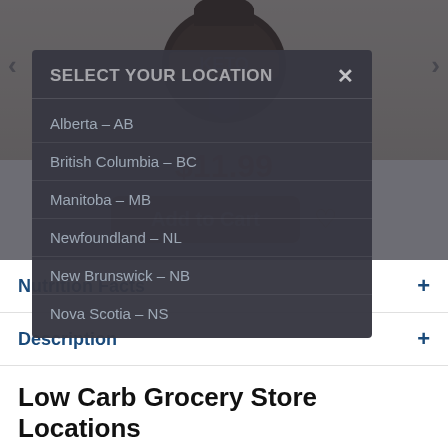[Figure (photo): Keto product bag top portion visible at top of page]
$11.99
Add to Cart
SELECT YOUR LOCATION
Alberta – AB
British Columbia – BC
Manitoba – MB
Newfoundland – NL
New Brunswick – NB
Nova Scotia – NS
Nutrition Facts
Description
Ingredients
Reviews
Low Carb Grocery Store Locations
Burnaby B.C.
Unit #137 - 8610 Glenlyon Parkway